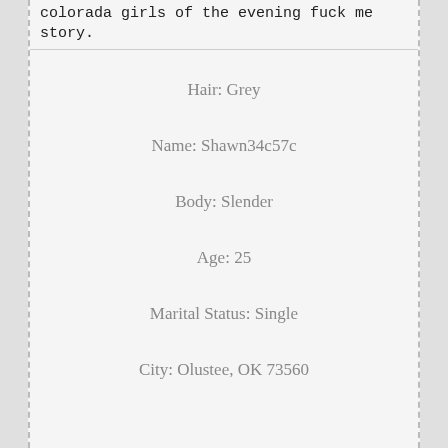colorada girls of the evening fuck me story.
Hair: Grey
Name: Shawn34c57c
Body: Slender
Age: 25
Marital Status: Single
City: Olustee, OK 73560